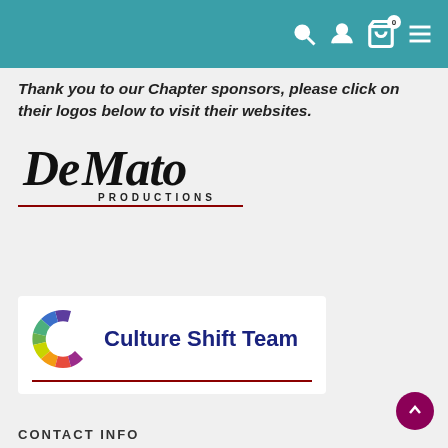Navigation header with search, user, cart, and menu icons
Thank you to our Chapter sponsors, please click on their logos below to visit their websites.
[Figure (logo): DeMato Productions logo — stylized script text 'DeMato' with 'PRODUCTIONS' in caps below, with dark red underline]
[Figure (logo): Culture Shift Team logo — multicolor circular C icon with 'Culture Shift Team' text in dark navy blue]
CONTACT INFO